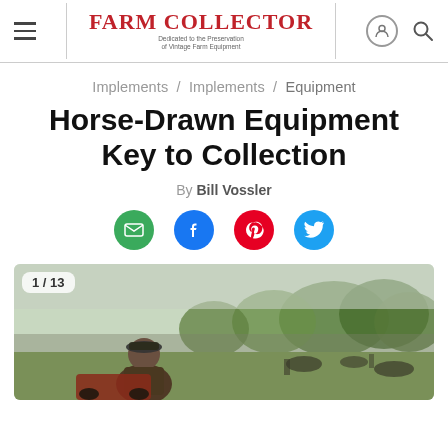Farm Collector — Dedicated to the Preservation of Vintage Farm Equipment
Implements / Implements / Equipment
Horse-Drawn Equipment Key to Collection
By Bill Vossler
[Figure (infographic): Social sharing icons: email (green), Facebook (blue), Pinterest (red), Twitter (blue)]
[Figure (photo): A man sitting on farm equipment in a yard surrounded by vintage horse-drawn implements and trees. Badge shows '1 / 13'.]